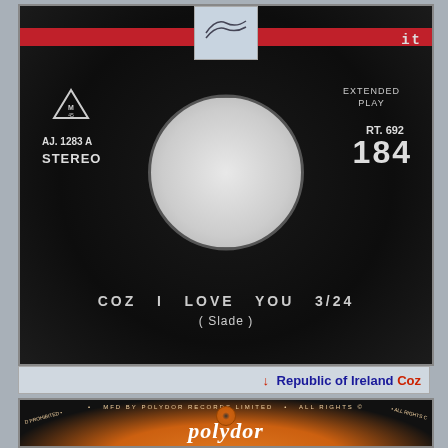[Figure (photo): Close-up photograph of a black vinyl 45 RPM single record label. Left side shows a triangle logo with 'M 45', below it 'AJ. 1283 A' and 'STEREO'. Right side shows 'EXTENDED PLAY', 'RT. 692', and large '184'. Center of record has a large white/grey center hole. Bottom of label reads 'COZ I LOVE YOU 3/24' and '( Slade )' in white text on black vinyl.]
↓ Republic of Ireland Coz
[Figure (photo): Partial photograph of an orange Polydor Records label on a vinyl record. Shows 'MFD BY POLYDOR RECORDS LIMITED' text around the ring, 'ALL RIGHTS' text, a small record logo in center, and the 'polydor' brand name in white italic script at bottom.]